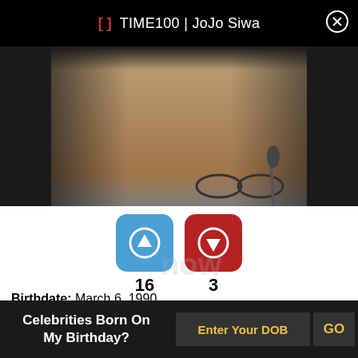[] TIME100 | JoJo Siwa
[Figure (photo): Video/image thumbnail showing a person, partially visible, dark background with warm skin tones, glasses visible at bottom right]
[Figure (infographic): Up-vote button (blue, arrow up) with count 16 and down-vote button (red, arrow down) with count 3]
Birthdate: March 6, 1990
Sun Sign: Pisces
Born to parents who ran a music troupe in Kanpur, Ankit Tiwari began his musical career singing jingles. He later soared to fame with Bollywood
Celebrities Born On My Birthday?
Enter Your DOB
GO